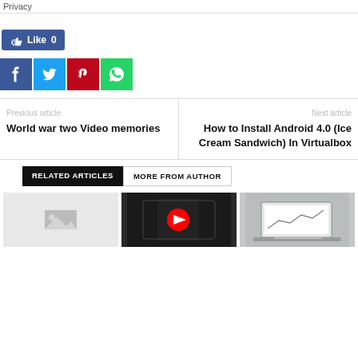Privacy
[Figure (screenshot): Facebook Like button showing 'Like 0' in blue]
[Figure (screenshot): Social share buttons: Facebook (dark blue), Twitter (light blue), Pinterest (red), WhatsApp (green)]
Previous article
World war two Video memories
Next article
How to Install Android 4.0 (Ice Cream Sandwich) In Virtualbox
RELATED ARTICLES
MORE FROM AUTHOR
[Figure (photo): Gray placeholder thumbnail image]
[Figure (photo): Photo of a hand holding a smartphone showing YouTube app]
[Figure (photo): Photo of people at a table with a laptop showing charts]